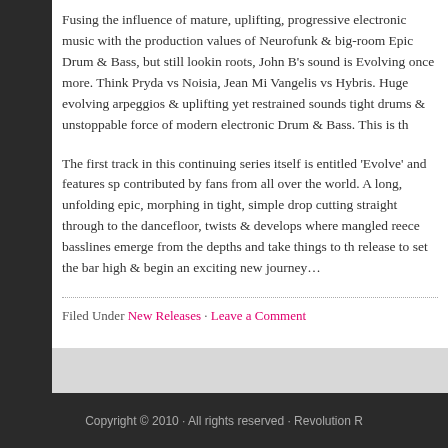Fusing the influence of mature, uplifting, progressive electronic music with the production values of Neurofunk & big-room Epic Drum & Bass, but still looking roots, John B's sound is Evolving once more. Think Pryda vs Noisia, Jean Mi Vangelis vs Hybris. Huge evolving arpeggios & uplifting yet restrained sounds tight drums & unstoppable force of modern electronic Drum & Bass. This is th
The first track in this continuing series itself is entitled 'Evolve' and features sp contributed by fans from all over the world. A long, unfolding epic, morphing in tight, simple drop cutting straight through to the dancefloor, twists & develops where mangled reece basslines emerge from the depths and take things to th release to set the bar high & begin an exciting new journey…
Filed Under New Releases · Leave a Comment
Next Page »
Copyright © 2010 · All rights reserved · Revolution R